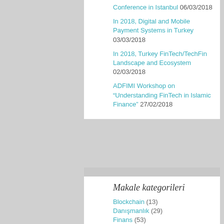Conference in Istanbul 06/03/2018
In 2018, Digital and Mobile Payment Systems in Turkey 03/03/2018
In 2018, Turkey FinTech/TechFin Landscape and Ecosystem 02/03/2018
ADFIMI Workshop on “Understanding FinTech in Islamic Finance” 27/02/2018
Makale kategorileri
Blockchain (13)
Danışmanlık (29)
Finans (53)
BKM (6)
CryptoCurrency (3)
Finansal Piyasalar (13)
Fintek/Fintech (9)
İlişki Bankacılığı (11)
İslami Finans (8)
Kitle Fonlama (1)
Merkez Bankası (11)